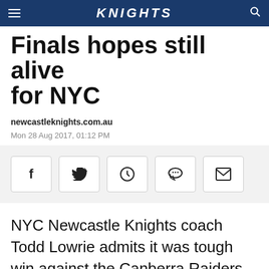KNIGHTS
Finals hopes still alive for NYC
newcastleknights.com.au
Mon 28 Aug 2017, 01:12 PM
[Figure (other): Social share buttons: Facebook, Twitter, WhatsApp, Reddit, Email]
NYC Newcastle Knights coach Todd Lowrie admits it was tough win against the Canberra Raiders last week, a nail biter to the end with a field goal in the